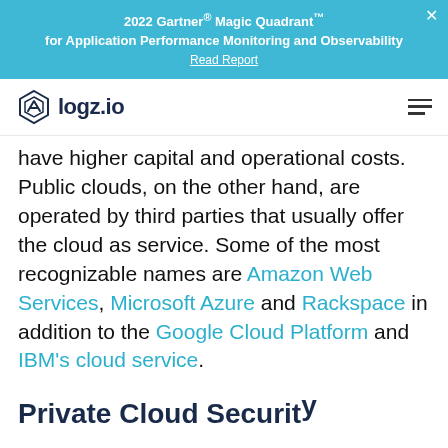2022 Gartner® Magic Quadrant™ for Application Performance Monitoring and Observability
Read Report
[Figure (logo): logz.io logo with hexagon icon]
have higher capital and operational costs. Public clouds, on the other hand, are operated by third parties that usually offer the cloud as service. Some of the most recognizable names are Amazon Web Services, Microsoft Azure and Rackspace in addition to the Google Cloud Platform and IBM's cloud service.
Private Cloud Security